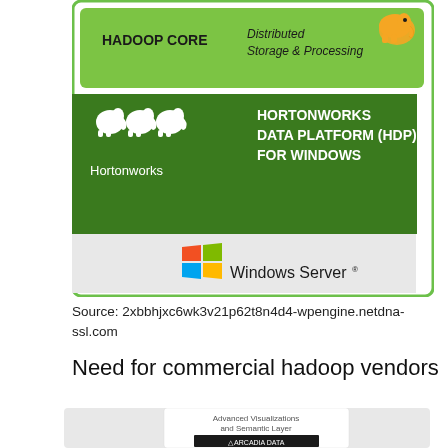[Figure (infographic): Hortonworks HDP architecture diagram showing Hadoop Core with Distributed Storage & Processing, Hortonworks Data Platform (HDP) for Windows branding with elephant logo, and Windows Server logo on gray background, all within a green bordered box]
Source: 2xbbhjxc6wk3v21p62t8n4d4-wpengine.netdna-ssl.com
Need for commercial hadoop vendors
[Figure (infographic): Partial infographic showing a box with 'Advanced Visualizations and Semantic Layer' text and Arcadia Data logo]